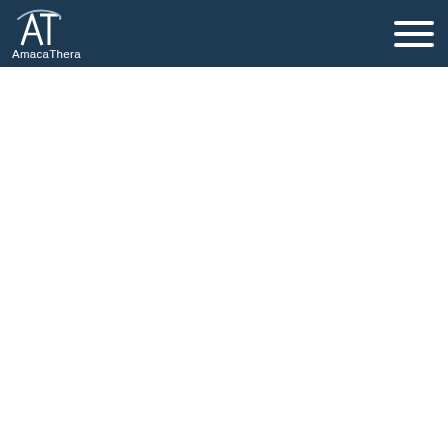[Figure (logo): AmacaThera logo with stylized AT monogram in white on dark navy blue navigation bar, with company name 'AmacaThera' in white text below the monogram]
[Figure (other): Hamburger menu icon (three horizontal white lines) on the right side of the navigation bar]